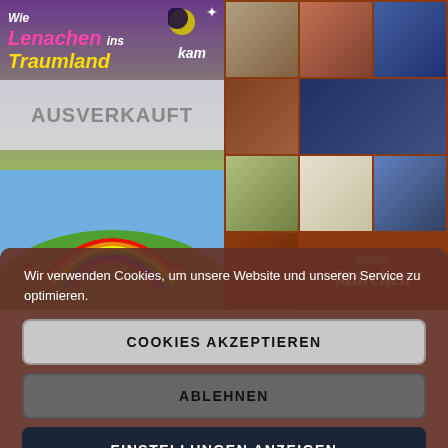[Figure (photo): Left book cover: 'Wie Lenachen ins Traumland kam' with colorful fantasy landscape, rainbow, green hills; overlaid with 'AUSVERKAUFT' banner]
[Figure (photo): Right book cover: 'kleine Märchen' with grid of illustrated fairy tale scenes on dark orange background]
Wir verwenden Cookies, um unsere Website und unseren Service zu optimieren.
COOKIES AKZEPTIEREN
ABLEHNEN
EINSTELLUNGEN ANZEIGEN
Cookie-Richtlinie  Datenschutzerklärung  Impressum